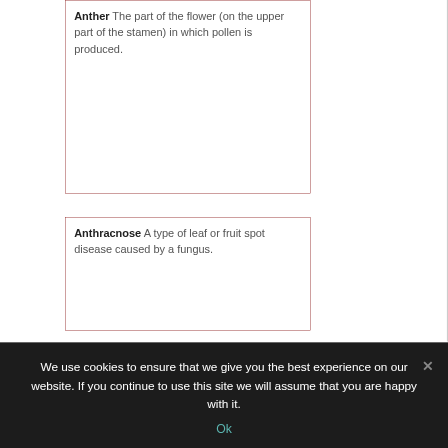Anther The part of the flower (on the upper part of the stamen) in which pollen is produced.
Anthracnose A type of leaf or fruit spot disease caused by a fungus.
We use cookies to ensure that we give you the best experience on our website. If you continue to use this site we will assume that you are happy with it.
Ok